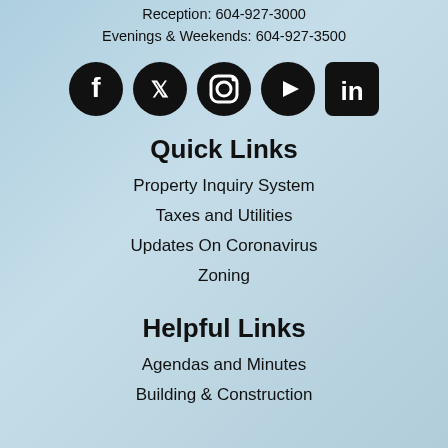Reception: 604-927-3000
Evenings & Weekends: 604-927-3500
[Figure (infographic): Five social media icons: Facebook, Twitter, Instagram, YouTube, LinkedIn]
Quick Links
Property Inquiry System
Taxes and Utilities
Updates On Coronavirus
Zoning
Helpful Links
Agendas and Minutes
Building & Construction